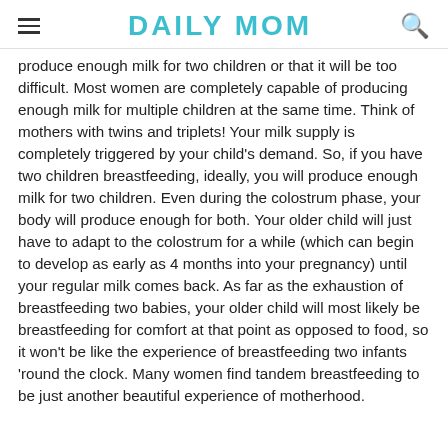DAILY MOM
produce enough milk for two children or that it will be too difficult. Most women are completely capable of producing enough milk for multiple children at the same time. Think of mothers with twins and triplets! Your milk supply is completely triggered by your child's demand. So, if you have two children breastfeeding, ideally, you will produce enough milk for two children. Even during the colostrum phase, your body will produce enough for both. Your older child will just have to adapt to the colostrum for a while (which can begin to develop as early as 4 months into your pregnancy) until your regular milk comes back. As far as the exhaustion of breastfeeding two babies, your older child will most likely be breastfeeding for comfort at that point as opposed to food, so it won't be like the experience of breastfeeding two infants 'round the clock. Many women find tandem breastfeeding to be just another beautiful experience of motherhood.